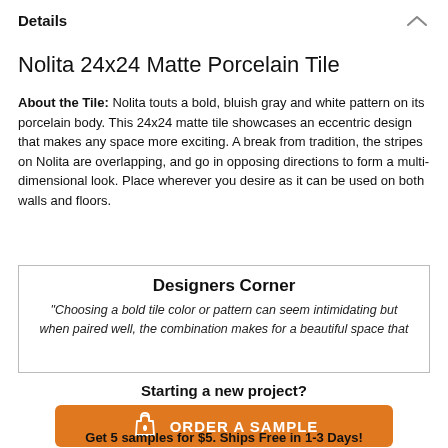Details
Nolita 24x24 Matte Porcelain Tile
About the Tile: Nolita touts a bold, bluish gray and white pattern on its porcelain body. This 24x24 matte tile showcases an eccentric design that makes any space more exciting. A break from tradition, the stripes on Nolita are overlapping, and go in opposing directions to form a multi-dimensional look. Place wherever you desire as it can be used on both walls and floors.
Designers Corner
"Choosing a bold tile color or pattern can seem intimidating but when paired well, the combination makes for a beautiful space that
Starting a new project?
ORDER A SAMPLE
Get 5 samples for $5. Ships Free in 1-3 Days!